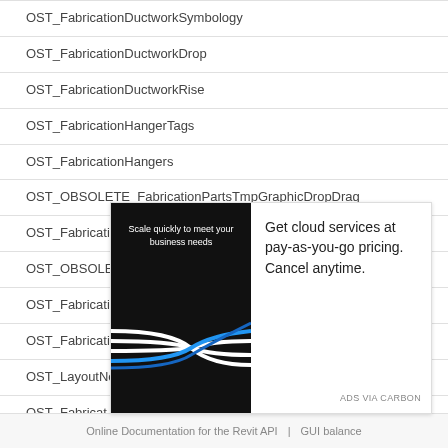OST_FabricationDuctworkSymbology
OST_FabricationDuctworkDrop
OST_FabricationDuctworkRise
OST_FabricationHangerTags
OST_FabricationHangers
OST_OBSOLETE_FabricationPartsTmpGraphicDropDrag
OST_FabricationPartsTmpGraphicDrag
OST_OBSOLETE_FabricationPartsTmpGraphicDrop
OST_FabricationPartsTmpGraphicEnd
OST_FabricationDuctworkInsulation
OST_LayoutNodes
OST_Fabricat...
OST_Fabricat...
OST_Fabricat...
[Figure (advertisement): Ad overlay: dark image with 'Scale quickly to meet your business needs' text and blue/white lines graphic on left; text on right reads 'Get cloud services at pay-as-you-go pricing. Cancel anytime.' with 'ADS VIA CARBON' label.]
Online Documentation for the Revit API | GUI balance